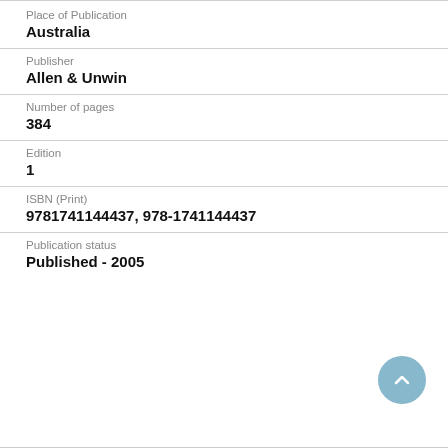Place of Publication
Australia
Publisher
Allen & Unwin
Number of pages
384
Edition
1
ISBN (Print)
9781741144437, 978-1741144437
Publication status
Published - 2005